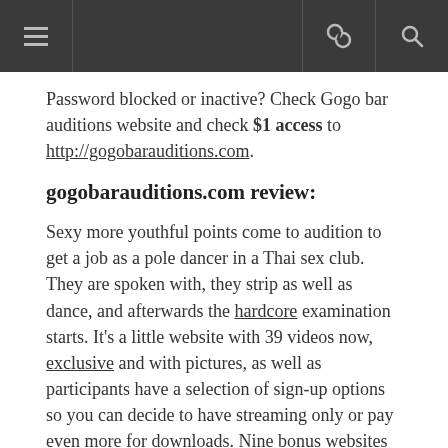≡  [link icon] [search icon]
Password blocked or inactive? Check Gogo bar auditions website and check $1 access to http://gogobarauditions.com.
gogobarauditions.com review:
Sexy more youthful points come to audition to get a job as a pole dancer in a Thai sex club. They are spoken with, they strip as well as dance, and afterwards the hardcore examination starts. It's a little website with 39 videos now, exclusive and with pictures, as well as participants have a selection of sign-up options so you can decide to have streaming only or pay even more for downloads. Nine bonus websites and also some DVDs are consisted of, updates are not constantly normal, but what's here is initial as well as well made.